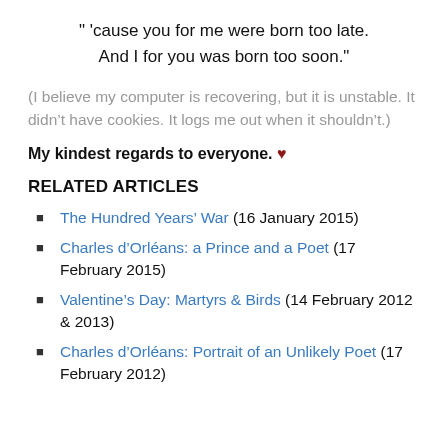" 'cause you for me were born too late.
And I for you was born too soon."
(I believe my computer is recovering, but it is unstable. It didn’t have cookies. It logs me out when it shouldn’t.)
My kindest regards to everyone. ♥
RELATED ARTICLES
The Hundred Years’ War (16 January 2015)
Charles d’Orléans: a Prince and a Poet (17 February 2015)
Valentine’s Day: Martyrs & Birds (14 February 2012 & 2013)
Charles d’Orléans: Portrait of an Unlikely Poet (17 February 2012)